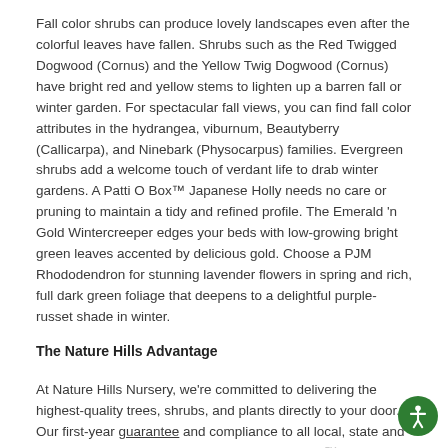Fall color shrubs can produce lovely landscapes even after the colorful leaves have fallen. Shrubs such as the Red Twigged Dogwood (Cornus) and the Yellow Twig Dogwood (Cornus) have bright red and yellow stems to lighten up a barren fall or winter garden. For spectacular fall views, you can find fall color attributes in the hydrangea, viburnum, Beautyberry (Callicarpa), and Ninebark (Physocarpus) families. Evergreen shrubs add a welcome touch of verdant life to drab winter gardens. A Patti O Box™ Japanese Holly needs no care or pruning to maintain a tidy and refined profile. The Emerald 'n Gold Wintercreeper edges your beds with low-growing bright green leaves accented by delicious gold. Choose a PJM Rhododendron for stunning lavender flowers in spring and rich, full dark green foliage that deepens to a delightful purple-russet shade in winter.
The Nature Hills Advantage
At Nature Hills Nursery, we're committed to delivering the highest-quality trees, shrubs, and plants directly to your door. Our first-year guarantee and compliance to all local, state and federal regulations as supported by Plant Sentry™ to